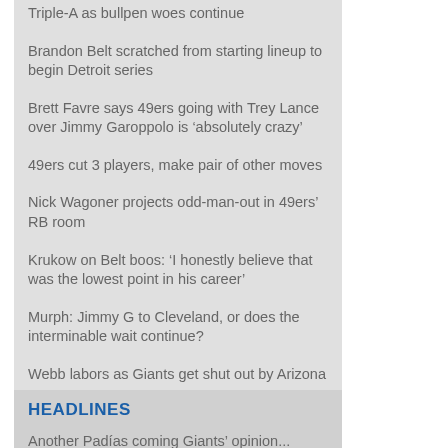Triple-A as bullpen woes continue
Brandon Belt scratched from starting lineup to begin Detroit series
Brett Favre says 49ers going with Trey Lance over Jimmy Garoppolo is ‘absolutely crazy’
49ers cut 3 players, make pair of other moves
Nick Wagoner projects odd-man-out in 49ers’ RB room
Krukow on Belt boos: ‘I honestly believe that was the lowest point in his career’
Murph: Jimmy G to Cleveland, or does the interminable wait continue?
Webb labors as Giants get shut out by Arizona
George Kontos explains issue with Giants bullpen this season
HEADLINES
Another Padres coming Giants’ opinion...